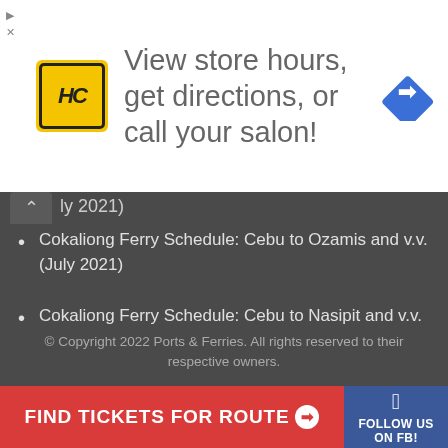[Figure (infographic): Advertisement banner with HC logo (yellow background, black HC letters), text 'View store hours, get directions, or call your salon!', and a blue diamond navigation arrow icon on the right.]
ly 2021)
Cokaliong Ferry Schedule: Cebu to Ozamis and v.v. (July 2021)
Cokaliong Ferry Schedule: Cebu to Nasipit and v.v. (July 2021)
Cokaliong Ferry Schedule: Cebu to Masbate and v.v. (July 2021)
Cokaliong Ferry Schedule: Cebu to Maasin and v.v. (July 2021)
© Copyright 2022 Ports & Ferries. All rights reserved to their respective owners.
FIND TICKETS FOR ROUTE ➔
FOLLOW US ON FB!